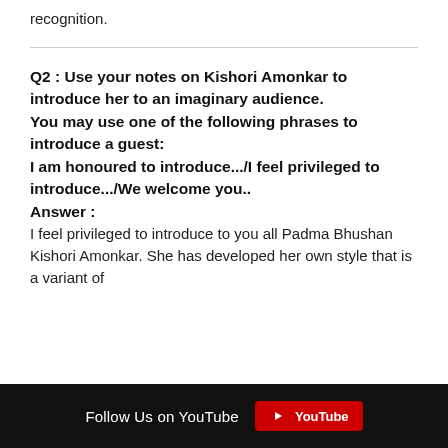recognition.
Q2 : Use your notes on Kishori Amonkar to introduce her to an imaginary audience.
You may use one of the following phrases to introduce a guest:
I am honoured to introduce.../I feel privileged to introduce.../We welcome you..
Answer :
I feel privileged to introduce to you all Padma Bhushan Kishori Amonkar. She has developed her own style that is a variant of
Follow Us on YouTube